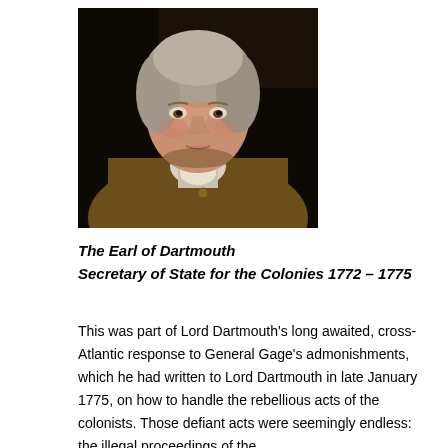[Figure (photo): Portrait painting of The Earl of Dartmouth, a man in 18th century clothing with a brown coat and white cravat, grey powdered hair, against a dark background.]
The Earl of Dartmouth
Secretary of State for the Colonies 1772 – 1775
This was part of Lord Dartmouth's long awaited, cross-Atlantic response to General Gage's admonishments, which he had written to Lord Dartmouth in late January 1775, on how to handle the rebellious acts of the colonists. Those defiant acts were seemingly endless: the illegal proceedings of the